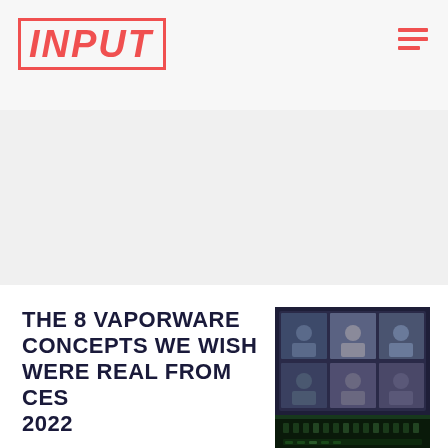INPUT
[Figure (photo): Large hero image area, light gray background, mostly blank/white space]
THE 8 VAPORWARE CONCEPTS WE WISH WERE REAL FROM CES 2022
Raymond Wong
[Figure (photo): Photo of a video conference call displayed on a monitor, showing multiple people in a grid layout, with a green-lit mixing board or console visible at the bottom]